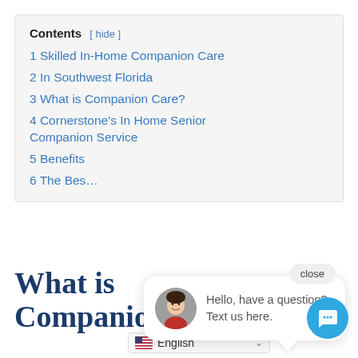Contents [ hide ]
1 Skilled In-Home Companion Care
2 In Southwest Florida
3 What is Companion Care?
4 Cornerstone's In Home Senior Companion Service
5 Benefits
6 The Bes…
[Figure (illustration): Chat widget popup showing a woman's avatar photo and the text 'Hello, have a question? Text us here.' with a close button above and a speech bubble tail below.]
What is Companion
English (language selector with flag)